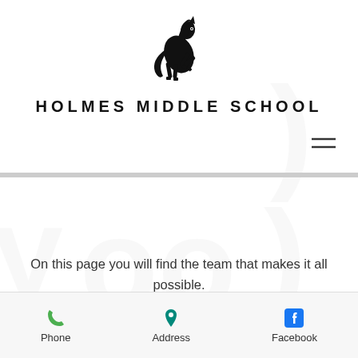[Figure (logo): Black silhouette of a rearing horse, school mascot logo for Holmes Middle School]
HOLMES MIDDLE SCHOOL
[Figure (other): Hamburger menu icon (three horizontal lines) in upper right corner]
On this page you will find the team that makes it all possible.
[Figure (other): Scroll-to-top button: circle with upward chevron arrow]
Phone  Address  Facebook